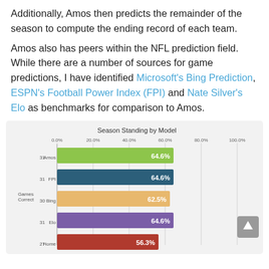Additionally, Amos then predicts the remainder of the season to compute the ending record of each team.
Amos also has peers within the NFL prediction field. While there are a number of sources for game predictions, I have identified Microsoft's Bing Prediction, ESPN's Football Power Index (FPI) and Nate Silver's Elo as benchmarks for comparison to Amos.
[Figure (bar-chart): Season Standing by Model]